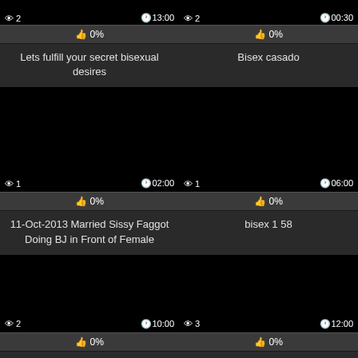[Figure (screenshot): Video thumbnail black, 2 views, duration 13:00]
👍 0%
Lets fulfill your secret bisexual desires
[Figure (screenshot): Video thumbnail black, 2 views, duration 00:30]
👍 0%
Bisex casado
[Figure (screenshot): Video thumbnail black, 1 view, duration 02:00]
👍 0%
11-Oct-2013 Married Sissy Faggot Doing BJ in Front of Female
[Figure (screenshot): Video thumbnail black, 1 view, duration 06:00]
👍 0%
bisex 1 58
[Figure (screenshot): Video thumbnail black, 2 views, duration 10:00]
👍 0%
[Figure (screenshot): Video thumbnail black, 3 views, duration 12:00]
👍 0%